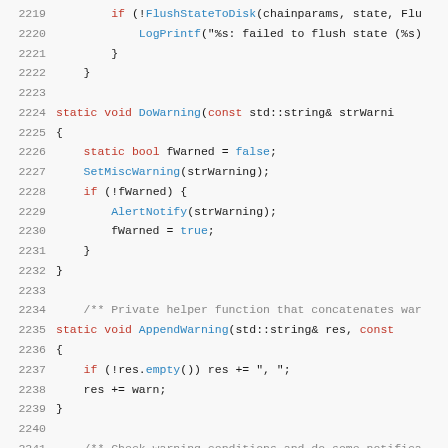[Figure (screenshot): Source code listing showing C++ code lines 2219-2241, a syntax-highlighted code viewer with line numbers on the left and code on the right. Shows functions DoWarning and AppendWarning with control flow statements.]